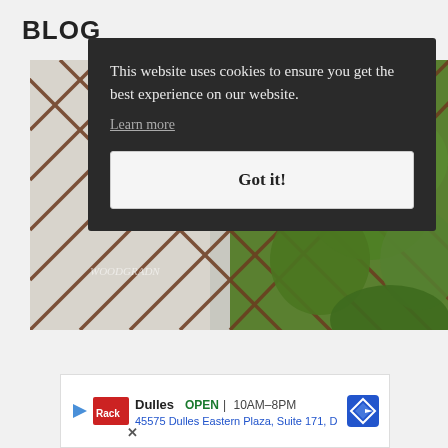BLOG
[Figure (photo): Photo of a wooden diamond trellis with green leafy vines/plants climbing it, white wall visible behind. Watermark text partially visible at bottom left.]
This website uses cookies to ensure you get the best experience on our website.
Learn more
Got it!
Dulles  OPEN  10AM–8PM  45575 Dulles Eastern Plaza, Suite 171, D